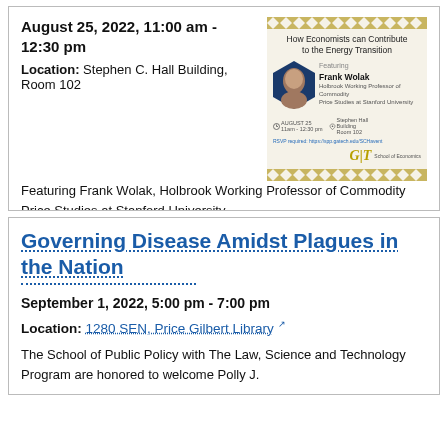August 25, 2022, 11:00 am - 12:30 pm
Location: Stephen C. Hall Building, Room 102
Featuring Frank Wolak, Holbrook Working Professor of Commodity Price Studies at Stanford University
[Figure (infographic): Event flyer for 'How Economists can Contribute to the Energy Transition' featuring Frank Wolak, Holbrook Working Professor of Commodity Price Studies at Stanford University. August 25, 11am - 12:30pm, Stephen Hall Building Room 102. Georgia Tech School of Economics logo.]
Governing Disease Amidst Plagues in the Nation
September 1, 2022, 5:00 pm - 7:00 pm
Location: 1280 SEN, Price Gilbert Library
The School of Public Policy with The Law, Science and Technology Program are honored to welcome Polly J.